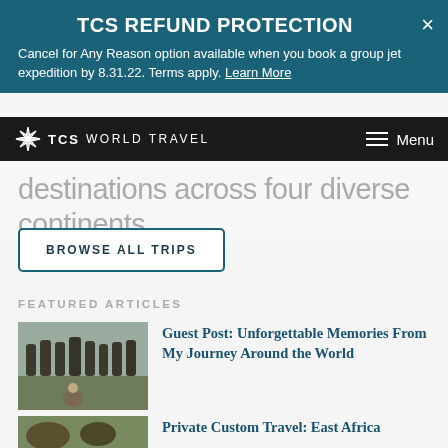TCS REFUND PROTECTION
Cancel for Any Reason option available when you book a group jet expedition by 8.31.22. Terms apply. Learn More
TCS WORLD TRAVEL   Menu
destinations across four diverse continents.
BROWSE ALL TRIPS
FEATURED ARTICLES
[Figure (photo): Photo of Easter Island moai statues with a person sitting in front]
Guest Post: Unforgettable Memories From My Journey Around the World
[Figure (photo): Partial photo of animals (possibly East Africa wildlife)]
Private Custom Travel: East Africa